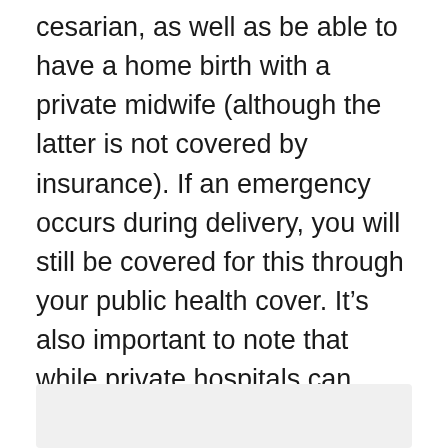cesarian, as well as be able to have a home birth with a private midwife (although the latter is not covered by insurance). If an emergency occurs during delivery, you will still be covered for this through your public health cover. It's also important to note that while private hospitals can provide you extra comfort such as your own private room, in case of emergency, it's wise to stay close to a public hospital. Public hospitals have the qualified staff and specialized equipment necessary to tackle emergencies.